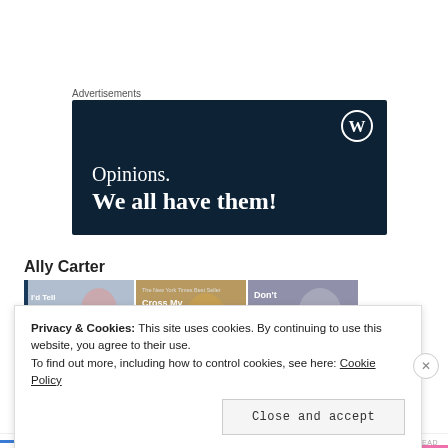Advertisements
[Figure (screenshot): WordPress advertisement banner with dark navy background showing WordPress logo (W in circle) and text 'Opinions. We all have them!']
Ally Carter
[Figure (photo): Three book covers by Ally Carter shown in a horizontal strip: 'I'd Tell', 'Cross My', and 'Don't']
Privacy & Cookies: This site uses cookies. By continuing to use this website, you agree to their use.
To find out more, including how to control cookies, see here: Cookie Policy
Close and accept
NEXT THREAD